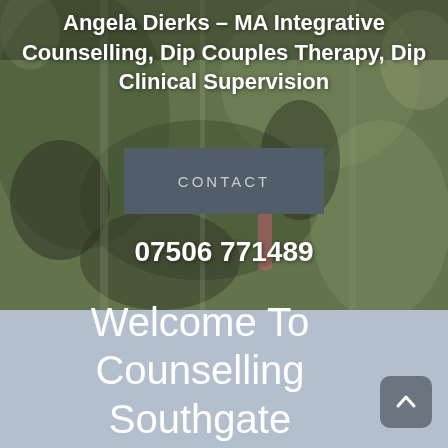[Figure (photo): Abstract textured background image with muted green, grey, and earthy tones, resembling a painted or weathered surface]
Angela Dierks - MA Integrative Counselling, Dip Couples Therapy, Dip Clinical Supervision
CONTACT
07506 771489
Welcome To Counselling Southgate